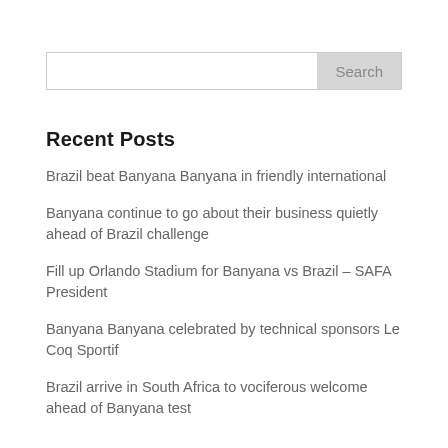[Figure (screenshot): Search input box with 'Search' button on the right]
Recent Posts
Brazil beat Banyana Banyana in friendly international
Banyana continue to go about their business quietly ahead of Brazil challenge
Fill up Orlando Stadium for Banyana vs Brazil – SAFA President
Banyana Banyana celebrated by technical sponsors Le Coq Sportif
Brazil arrive in South Africa to vociferous welcome ahead of Banyana test